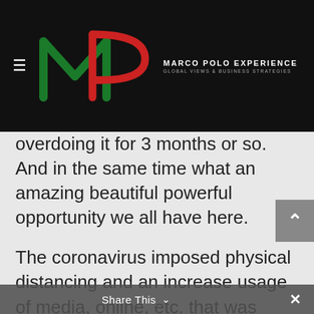Marco Polo Experience — Global Views & Business Strategies
overdoing it for 3 months or so. And in the same time what an amazing beautiful powerful opportunity we all have here.
The coronavirus imposed physical distancing and an increase usage of media, online, etc. that was what most probably saved the most of us, and I am forever grateful. It is today my bread and butter in so many ways.
And I want to encourage all of us to take that power. And to be responsible. And to grow together in this space of social media and...